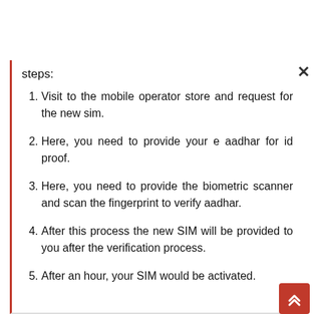steps:
Visit to the mobile operator store and request for the new sim.
Here, you need to provide your e aadhar for id proof.
Here, you need to provide the biometric scanner and scan the fingerprint to verify aadhar.
After this process the new SIM will be provided to you after the verification process.
After an hour, your SIM would be activated.